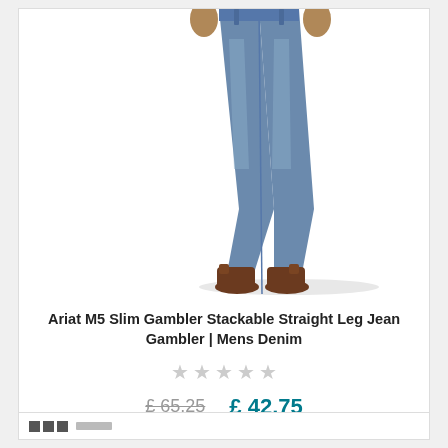[Figure (photo): A man wearing light blue slim straight leg jeans with brown cowboy boots, shown from waist down on white background]
Ariat M5 Slim Gambler Stackable Straight Leg Jean Gambler | Mens Denim
★ ★ ★ ★ ★ (empty stars, no rating)
£ 65.25  £ 42.75